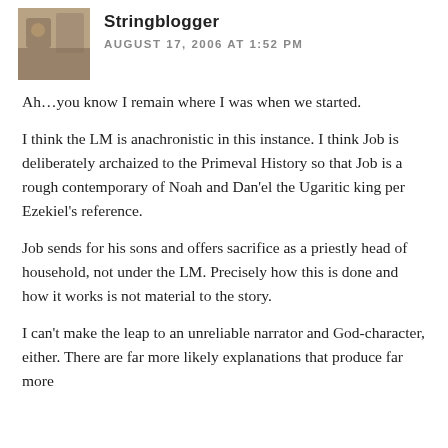[Figure (photo): Avatar thumbnail photo showing a figure, partially visible, brownish tones]
AUGUST 17, 2006 AT 1:52 PM
Ah...you know I remain where I was when we started.
I think the LM is anachronistic in this instance. I think Job is deliberately archaized to the Primeval History so that Job is a rough contemporary of Noah and Dan'el the Ugaritic king per Ezekiel's reference.
Job sends for his sons and offers sacrifice as a priestly head of household, not under the LM. Precisely how this is done and how it works is not material to the story.
I can't make the leap to an unreliable narrator and God-character, either. There are far more likely explanations that produce far more